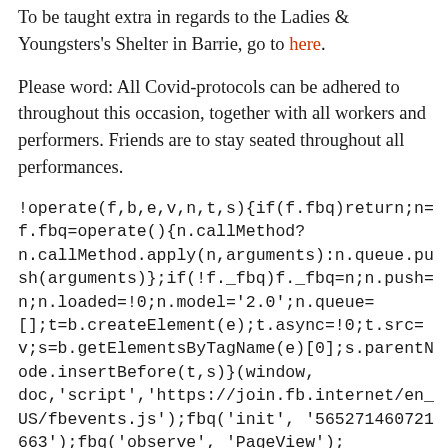To be taught extra in regards to the Ladies & Youngsters's Shelter in Barrie, go to here.
Please word: All Covid-protocols can be adhered to throughout this occasion, together with all workers and performers. Friends are to stay seated throughout all performances.
!operate(f,b,e,v,n,t,s){if(f.fbq)return;n=f.fbq=operate(){n.callMethod?n.callMethod.apply(n,arguments):n.queue.push(arguments)};if(!f._fbq)f._fbq=n;n.push=n;n.loaded=!0;n.model='2.0';n.queue=[];t=b.createElement(e);t.async=!0;t.src=v;s=b.getElementsByTagName(e)[0];s.parentNode.insertBefore(t,s)}(window,doc,'script','https://join.fb.internet/en_US/fbevents.js');fbq('init', '565271460721663');fbq('observe', 'PageView');